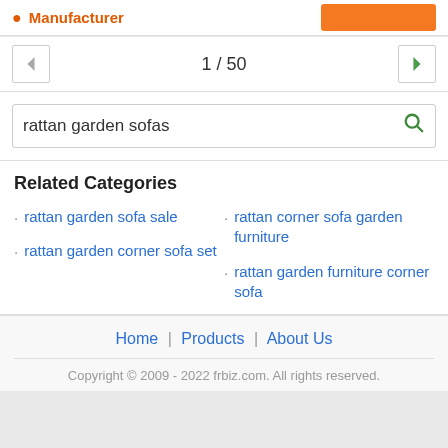Manufacturer
1 / 50
rattan garden sofas
Related Categories
rattan garden sofa sale
rattan corner sofa garden furniture
rattan garden corner sofa set
rattan garden furniture corner sofa
Home | Products | About Us
Copyright © 2009 - 2022 frbiz.com. All rights reserved.